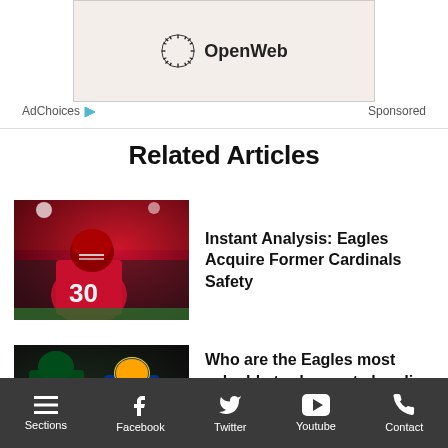[Figure (logo): OpenWeb logo on beige/cream background ad banner]
AdChoices ▷   Sponsored
Related Articles
[Figure (photo): NFL player in Arizona Cardinals red jersey number 30 on football field]
Instant Analysis: Eagles Acquire Former Cardinals Safety
[Figure (photo): Eagles player and Rams player on football field]
Who are the Eagles most valuable trade assets heading into the...
Sections   Facebook   Twitter   Youtube   Contact